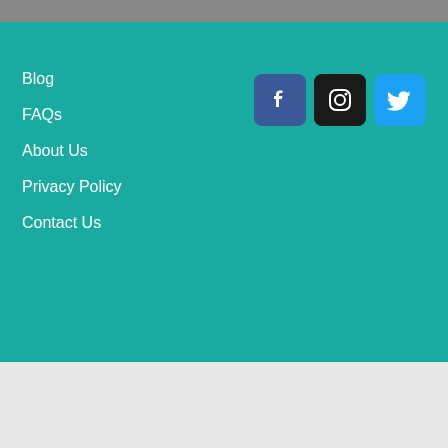Blog
FAQs
About Us
Privacy Policy
Contact Us
[Figure (logo): Facebook, Instagram, and Twitter social media icons]
Copyright © 2022 Final Straw Cornwall.
Final Straw Cornwall CIC: Company No. 13570151